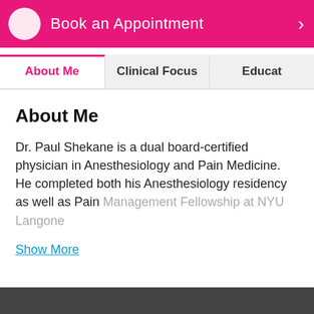[Figure (other): Pink/magenta banner with a white circular avatar icon, the text 'Book an Appointment', and a right-arrow chevron on the right side]
About Me | Clinical Focus | Educat
About Me
Dr. Paul Shekane is a dual board-certified physician in Anesthesiology and Pain Medicine. He completed both his Anesthesiology residency as well as Pain Management Fellowship at NYU Langone
Show More